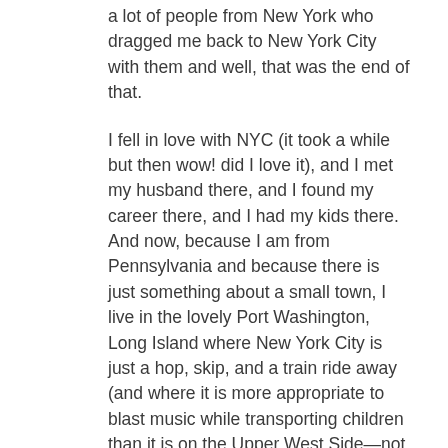a lot of people from New York who dragged me back to New York City with them and well, that was the end of that.
I fell in love with NYC (it took a while but then wow! did I love it), and I met my husband there, and I found my career there, and I had my kids there. And now, because I am from Pennsylvania and because there is just something about a small town, I live in the lovely Port Washington, Long Island where New York City is just a hop, skip, and a train ride away (and where it is more appropriate to blast music while transporting children than it is on the Upper West Side—not that I didn't try).
Beth's official bio reads like this:
Beth Ain grew up in Allentown